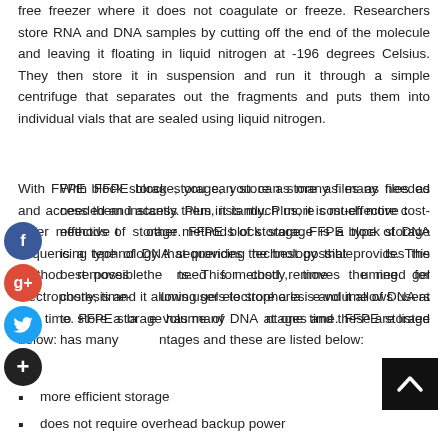free freezer where it does not coagulate or freeze. Researchers store RNA and DNA samples by cutting off the end of the molecule and leaving it floating in liquid nitrogen at -196 degrees Celsius. They then store it in suspension and run it through a simple centrifuge that separates out the fragments and puts them into individual vials that are sealed using liquid nitrogen.
With FFPE block storage, you can store as many files as needed and access them instantly. Plus, it is much more cost-effective than other methods of storage. FFPE block storage is a type of DNA sequencing technology that provides the best possible results. This method removes the need for costly, time-consuming gel electrophoresis and it allows users to store a large volume of DNA at one time. FFPE storage has many advantages and these are listed below:
more efficient storage
does not require overhead backup power